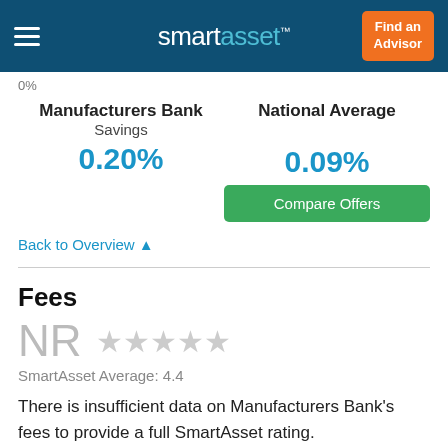smartasset™ — Find an Advisor
0%
| Manufacturers Bank | National Average |
| --- | --- |
| Savings |  |
| 0.20% | 0.09% |
Compare Offers
Back to Overview ▲
Fees
NR ★★★★★
SmartAsset Average: 4.4
There is insufficient data on Manufacturers Bank's fees to provide a full SmartAsset rating.
[Figure (other): Partially visible Monthly Fees section at bottom]